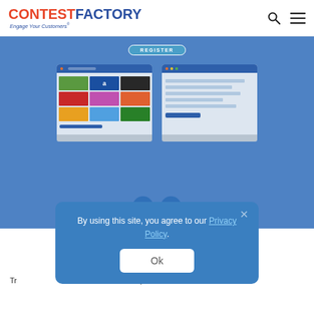CONTEST FACTORY — Engage Your Customers®
[Figure (screenshot): Blue banner showing two laptop screenshots of a contest platform interface with a REGISTER button at the top, and prev/next navigation arrows at the bottom]
By using this site, you agree to our Privacy Policy.
Ok
Tr... o... e... q...